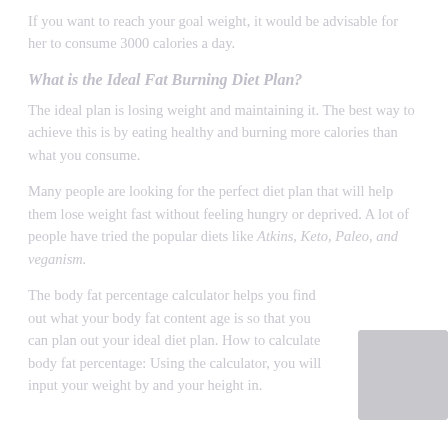If you want to reach your goal weight, it would be advisable for her to consume 3000 calories a day.
What is the Ideal Fat Burning Diet Plan?
The ideal plan is losing weight and maintaining it. The best way to achieve this is by eating healthy and burning more calories than what you consume.
Many people are looking for the perfect diet plan that will help them lose weight fast without feeling hungry or deprived. A lot of people have tried the popular diets like Atkins, Keto, Paleo, and veganism.
The body fat percentage calculator helps you find out what your body fat content age is so that you can plan out your ideal diet plan. How to calculate body fat percentage: Using the calculator, you will input your weight by and your height in.
[Figure (photo): Circular photo/image placeholder in bottom right area]